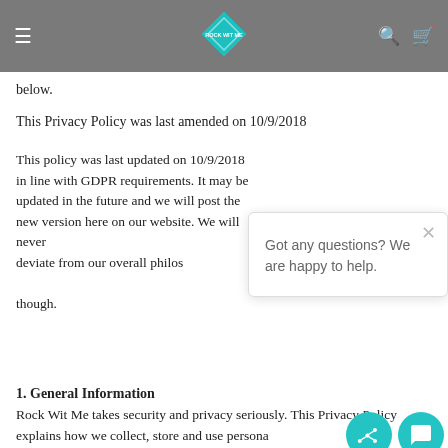Navigation bar with hamburger menu, logo, search and cart icons
below.
This Privacy Policy was last amended on 10/9/2018
This policy was last updated on 10/9/2018 in line with GDPR requirements. It may be updated in the future and we will post the new version here on our website. We will never deviate from our overall philosophy of maintaining your privacy though.
1. General Information
Rock Wit Me takes security and privacy seriously. This Privacy Policy explains how we collect, store and use personal data when you browse rockwitme.fws.store or otherwise provide your information to us. Please read this Privacy Policy carefully to understand how we treat your personal data.
[Figure (screenshot): Chat popup widget with text: Got any questions? We are happy to help. With close button and teal chat icons.]